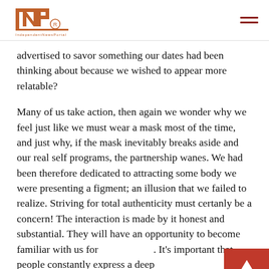[Figure (logo): INP logo in dark orange/brown color with registered trademark symbol, with a red tagline below]
advertised to savor something our dates had been thinking about because we wished to appear more relatable?
Many of us take action, then again we wonder why we feel just like we must wear a mask most of the time, and just why, if the mask inevitably breaks aside and our real self programs, the partnership wanes. We had been therefore dedicated to attracting some body we were presenting a figment; an illusion that we failed to realize. Striving for total authenticity must certanly be a concern! The interaction is made by it honest and substantial. They will have an opportunity to become familiar with us for [go top button]. It's important that people constantly express a deep for whom we have been, exactly how we act, and exactly